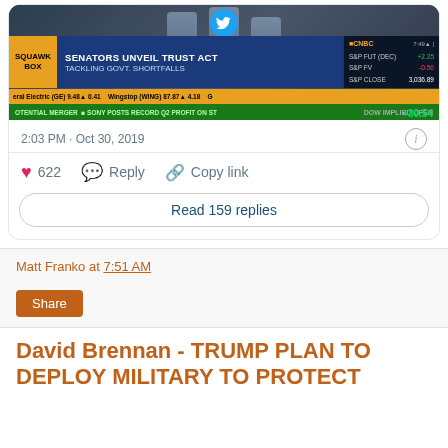[Figure (screenshot): CNBC Squawk Box screenshot showing 'SENATORS UNVEIL TRUST ACT - TACKLING GOVT. SHORTFALLS' headline, with stock tickers S&P FUT +2.25, S&P FV -0.56, S&P CLOSE 3,036.89, DOW IMPLIED OPEN +30.54, time 7:49, General Electric (GE) 9.48 +0.41, Wingstop (WING) 87.87 +4.18, ticker text about POTENTIAL MERGER, SONY POSTS RECORD Q2 PROFIT ON ST]
2:03 PM · Oct 30, 2019
622  Reply  Copy link
Read 159 replies
Matt Franko at 7:51 AM
Share
David Brennan - TRUMP PLAN TO DEPLOY MILITARY TO PROTECT